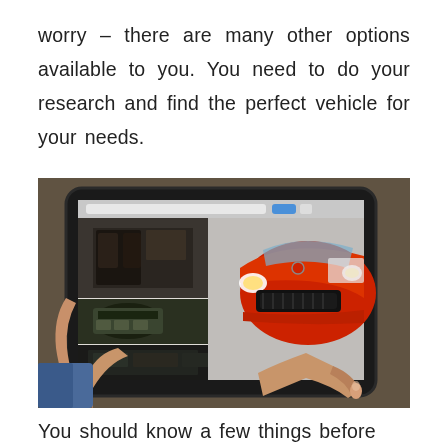worry – there are many other options available to you. You need to do your research and find the perfect vehicle for your needs.
[Figure (photo): A person holding a tablet device displaying a car research website with images of a red car (front view), car interior, and engine. The person's finger is touching the screen.]
You should know a few things before